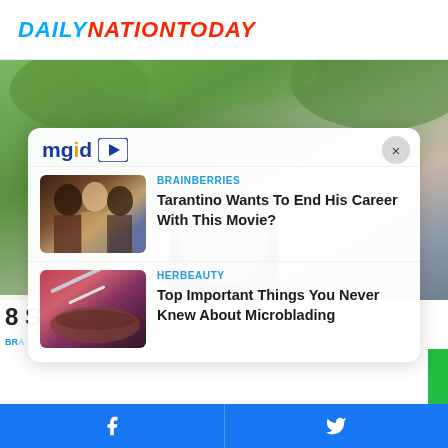DAILYNATIONTODAY
[Figure (photo): Hero background photo of a person with dark hair surrounded by green foliage]
[Figure (screenshot): MGID sponsored content widget with close button, showing two article recommendations]
BRAINBERRIES
Tarantino Wants To End His Career With This Movie?
HERBEAUTY
Top Important Things You Never Knew About Microblading
Facebook share | Twitter share